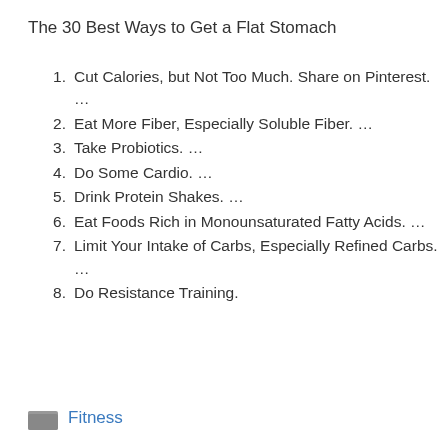The 30 Best Ways to Get a Flat Stomach
Cut Calories, but Not Too Much. Share on Pinterest. …
Eat More Fiber, Especially Soluble Fiber. …
Take Probiotics. …
Do Some Cardio. …
Drink Protein Shakes. …
Eat Foods Rich in Monounsaturated Fatty Acids. …
Limit Your Intake of Carbs, Especially Refined Carbs. …
Do Resistance Training.
Fitness